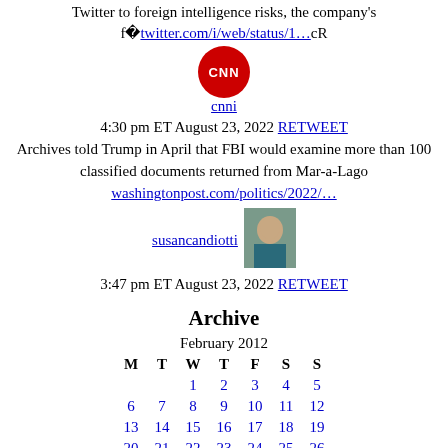Twitter to foreign intelligence risks, the company's f�twitter.com/i/web/status/1…cR
cnni
4:30 pm ET August 23, 2022 RETWEET
Archives told Trump in April that FBI would examine more than 100 classified documents returned from Mar-a-Lago
washingtonpost.com/politics/2022/…
susancandiotti
3:47 pm ET August 23, 2022 RETWEET
Archive
| M | T | W | T | F | S | S |
| --- | --- | --- | --- | --- | --- | --- |
|  |  | 1 | 2 | 3 | 4 | 5 |
| 6 | 7 | 8 | 9 | 10 | 11 | 12 |
| 13 | 14 | 15 | 16 | 17 | 18 | 19 |
| 20 | 21 | 22 | 23 | 24 | 25 | 26 |
| 27 | 28 | 29 |  |  |  |  |
« Jan   Mar »